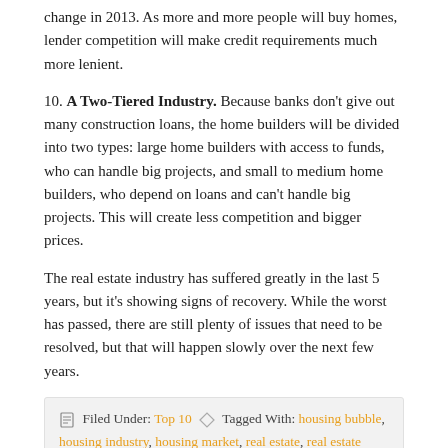change in 2013. As more and more people will buy homes, lender competition will make credit requirements much more lenient.
10. A Two-Tiered Industry. Because banks don't give out many construction loans, the home builders will be divided into two types: large home builders with access to funds, who can handle big projects, and small to medium home builders, who depend on loans and can't handle big projects. This will create less competition and bigger prices.
The real estate industry has suffered greatly in the last 5 years, but it's showing signs of recovery. While the worst has passed, there are still plenty of issues that need to be resolved, but that will happen slowly over the next few years.
Filed Under: Top 10   Tagged With: housing bubble, housing industry, housing market, real estate, real estate industry
Can the Real Estate Industry Ever Be as Good as it was Before 2008?